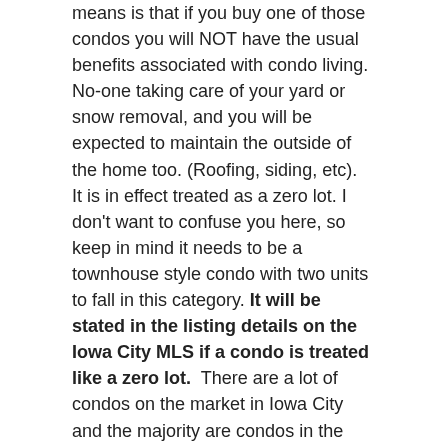means is that if you buy one of those condos you will NOT have the usual benefits associated with condo living. No-one taking care of your yard or snow removal, and you will be expected to maintain the outside of the home too. (Roofing, siding, etc).  It is in effect treated as a zero lot. I don't want to confuse you here, so keep in mind it needs to be a townhouse style condo with two units to fall in this category. It will be stated in the listing details on the Iowa City MLS if a condo is treated like a zero lot.  There are a lot of condos on the market in Iowa City and the majority are condos in the true sense of the word.
The biggest advantage to a zero lot home is that you can generally get quite a lot of house for a good price. And it is only one shared wall. You don't have too many neighbors or a condo association to deal with. Logically, no condo association means there no condo fees either. You have the freedom of a single family home where you call the shots, with a little less maintenance and a lower price tag than a single family home. Of course you are still sharing that all important wall. That may not suit you when it comes to the